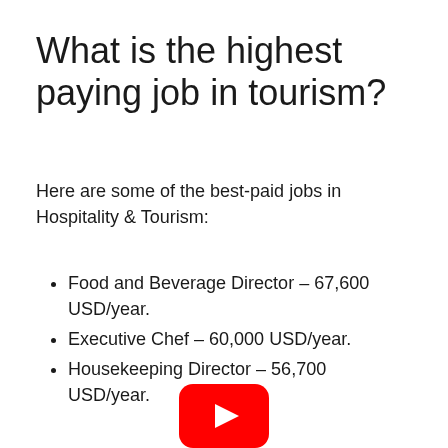What is the highest paying job in tourism?
Here are some of the best-paid jobs in Hospitality & Tourism:
Food and Beverage Director – 67,600 USD/year.
Executive Chef – 60,000 USD/year.
Housekeeping Director – 56,700 USD/year.
[Figure (logo): YouTube play button logo — red rounded rectangle with white triangle play icon]